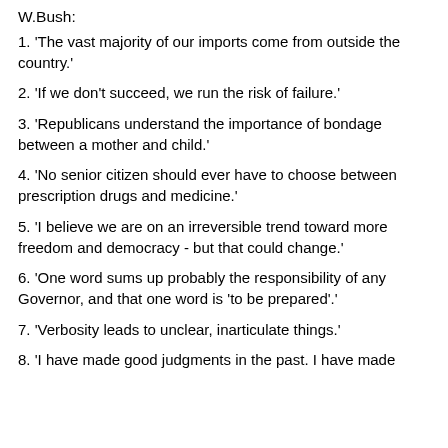W.Bush:
1. 'The vast majority of our imports come from outside the country.'
2. 'If we don't succeed, we run the risk of failure.'
3. 'Republicans understand the importance of bondage between a mother and child.'
4. 'No senior citizen should ever have to choose between prescription drugs and medicine.'
5. 'I believe we are on an irreversible trend toward more freedom and democracy - but that could change.'
6. 'One word sums up probably the responsibility of any Governor, and that one word is 'to be prepared'.'
7. 'Verbosity leads to unclear, inarticulate things.'
8. 'I have made good judgments in the past. I have made